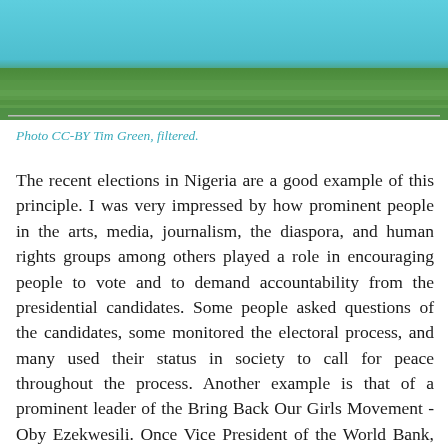[Figure (photo): Photo showing a child lying in green grass with a teal/turquoise wall or mural in the background]
Photo CC-BY Tim Green, filtered.
The recent elections in Nigeria are a good example of this principle. I was very impressed by how prominent people in the arts, media, journalism, the diaspora, and human rights groups among others played a role in encouraging people to vote and to demand accountability from the presidential candidates. Some people asked questions of the candidates, some monitored the electoral process, and many used their status in society to call for peace throughout the process. Another example is that of a prominent leader of the Bring Back Our Girls Movement -Oby Ezekwesili. Once Vice President of the World Bank, she used this already-acquired status in demanding that governments take note of the missing